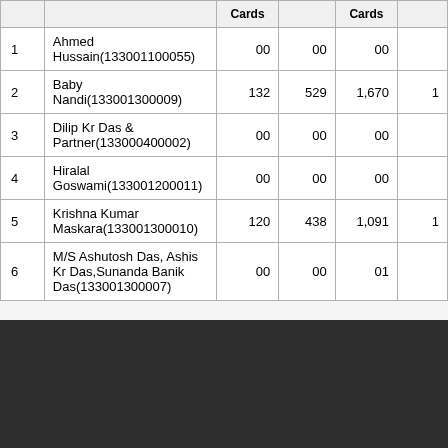|  |  | Cards |  | Cards |  |
| --- | --- | --- | --- | --- | --- |
| 1 | Ahmed Hussain(133001100055) | 00 | 00 | 00 |  |
| 2 | Baby Nandi(133001300009) | 132 | 529 | 1,670 | 1 |
| 3 | Dilip Kr Das & Partner(133000400002) | 00 | 00 | 00 |  |
| 4 | Hiralal Goswami(133001200011) | 00 | 00 | 00 |  |
| 5 | Krishna Kumar Maskara(133001300010) | 120 | 438 | 1,091 | 1 |
| 6 | M/S Ashutosh Das, Ashis Kr Das,Sunanda Banik Das(133001300007) | 00 | 00 | 01 |  |